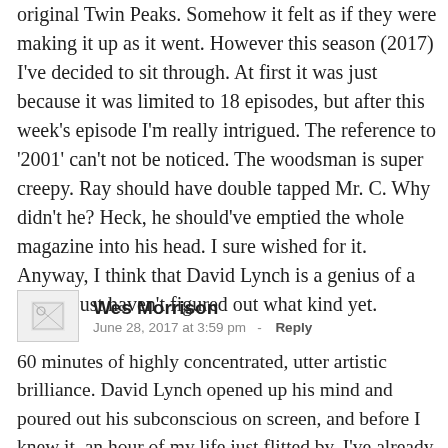original Twin Peaks. Somehow it felt as if they were making it up as it went. However this season (2017) I've decided to sit through. At first it was just because it was limited to 18 episodes, but after this week's episode I'm really intrigued. The reference to '2001' can't not be noticed. The woodsman is super creepy. Ray should have double tapped Mr. C. Why didn't he? Heck, he should've emptied the whole magazine into his head. I sure wished for it. Anyway, I think that David Lynch is a genius of a kind, I just haven't figured out what kind yet.
[Figure (other): Small avatar/placeholder image with broken image icon]
Wes Morrison
June 28, 2017 at 3:59 pm  -  Reply
60 minutes of highly concentrated, utter artistic brilliance. David Lynch opened up his mind and poured out his subconscious on screen, and before I knew it, an hour of my life just flitted by. I've already